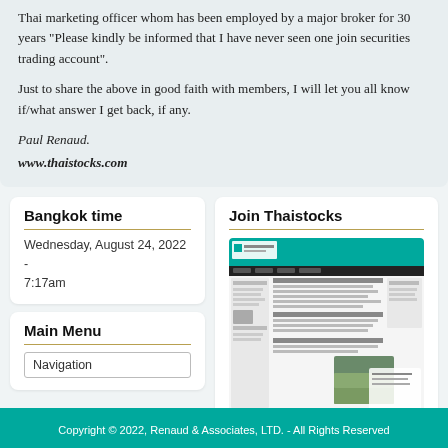Thai marketing officer whom has been employed by a major broker for 30 years "Please kindly be informed that I have never seen one join securities trading account".
Just to share the above in good faith with members, I will let you all know if/what answer I get back, if any.
Paul Renaud.
www.thaistocks.com
Bangkok time
Wednesday, August 24, 2022 - 7:17am
Main Menu
Navigation
Join Thaistocks
[Figure (screenshot): Screenshot of the Thaistocks website interface showing the forum/article layout with teal header and content sections]
Copyright © 2022, Renaud & Associates, LTD. - All Rights Reserved